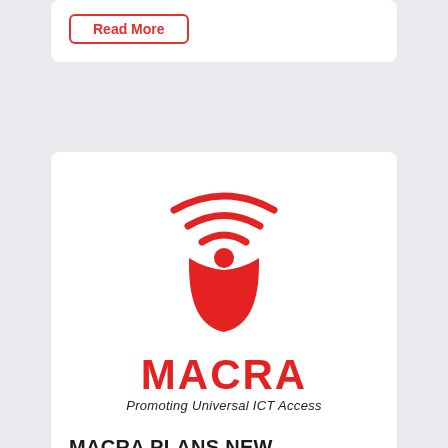Read More
[Figure (logo): MACRA logo — red shield/teardrop shape with wifi signal arcs and a red circle, with text MACRA in red and tagline Promoting Universal ICT Access]
MACRA PLANS NEW FREQUENCY RULES
As a means to ensure safety and prevent potential